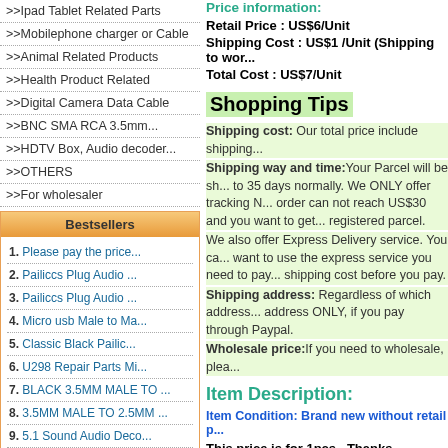>>Ipad Tablet Related Parts
>>Mobilephone charger or Cable
>>Animal Related Products
>>Health Product Related
>>Digital Camera Data Cable
>>BNC SMA RCA 3.5mm...
>>HDTV Box, Audio decoder...
>>OTHERS
>>For wholesaler
Bestsellers
1. Please pay the price...
2. Pailiccs Plug Audio ...
3. Pailiccs Plug Audio ...
4. Micro usb Male to Ma...
5. Classic Black Pailic...
6. U298 Repair Parts Mi...
7. BLACK 3.5MM MALE TO ...
8. 3.5MM MALE TO 2.5MM ...
9. 5.1 Sound Audio Deco...
10. ACROLINK FP-640 Upda...
Live Support
Price information:
Retail Price : US$6/Unit
Shipping Cost : US$1 /Unit (Shipping to worl...
Total Cost : US$7/Unit
Shopping Tips
Shipping cost: Our total price include shipping...
Shipping way and time: Your Parcel will be sh... to 35 days normally. We ONLY offer tracking N... order can not reach US$30 and you want to get... registered parcel.
We also offer Express Delivery service. You ca... want to use the express service you need to pay... shipping cost before you pay.
Shipping address: Regardless of which address... address ONLY, if you pay through Paypal.
Wholesale price: If you need to wholesale, plea...
Item Description:
Item Condition: Brand new without retail p...
This price is for 1pcs . Thanks.
[Figure (photo): Product photo showing close-up of a cable or audio plug against a light background with a hand visible]